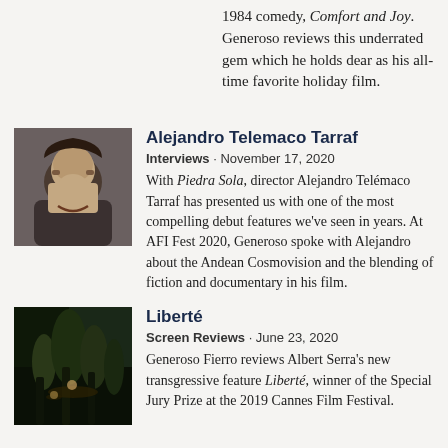1984 comedy, Comfort and Joy. Generoso reviews this underrated gem which he holds dear as his all-time favorite holiday film.
Alejandro Telemaco Tarraf
Interviews · November 17, 2020
With Piedra Sola, director Alejandro Telémaco Tarraf has presented us with one of the most compelling debut features we've seen in years. At AFI Fest 2020, Generoso spoke with Alejandro about the Andean Cosmovision and the blending of fiction and documentary in his film.
[Figure (photo): Portrait photo of Alejandro Telemaco Tarraf]
Liberté
Screen Reviews · June 23, 2020
Generoso Fierro reviews Albert Serra's new transgressive feature Liberté, winner of the Special Jury Prize at the 2019 Cannes Film Festival.
[Figure (photo): Still from the film Liberté]